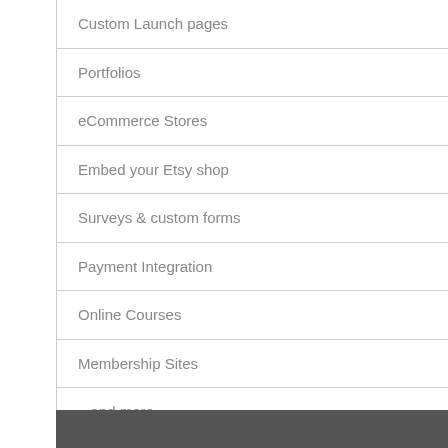Custom Launch pages
Portfolios
eCommerce Stores
Embed your Etsy shop
Surveys & custom forms
Payment Integration
Online Courses
Membership Sites
...and more